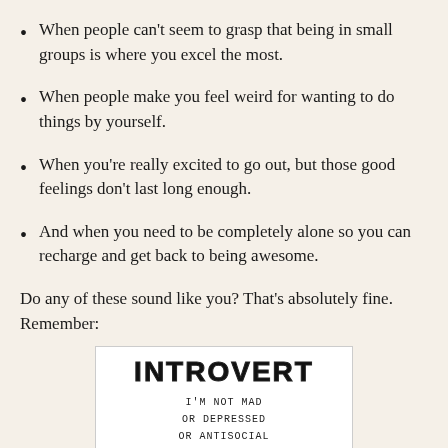When people can’t seem to grasp that being in small groups is where you excel the most.
When people make you feel weird for wanting to do things by yourself.
When you’re really excited to go out, but those good feelings don’t last long enough.
And when you need to be completely alone so you can recharge and get back to being awesome.
Do any of these sound like you? That’s absolutely fine. Remember:
[Figure (illustration): Hand-drawn style card with large bold block letters spelling INTROVERT, below which handwritten text reads: I'M NOT MAD / OR DEPRESSED / OR ANTISOCIAL]